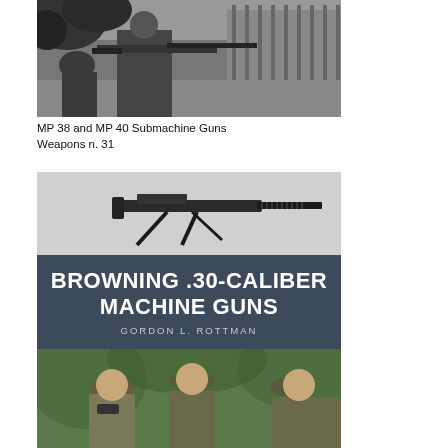[Figure (photo): Black and white photograph of a soldier holding an MP 38 or MP 40 submachine gun, with fence and foliage in background]
MP 38 and MP 40 Submachine Guns
Weapons n. 31
[Figure (photo): Book cover for 'Browning .30-Caliber Machine Guns' by Gordon L. Rottman, featuring a photo of the machine gun on a tripod, large title text on dark blue-gray background, and illustrated soldiers at the bottom]